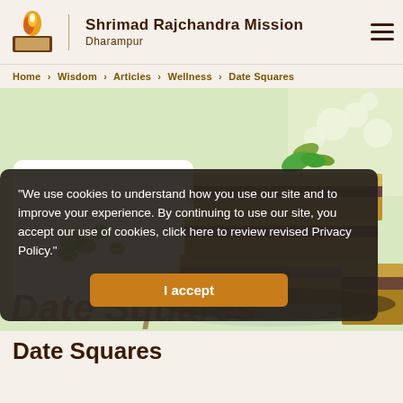Shrimad Rajchandra Mission Dharampur
Home > Wisdom > Articles > Wellness > Date Squares
[Figure (photo): Stacked date squares / oat bars with a dark jam filling on a plate, with a white mug decorated with green clovers and white flowers in background]
"We use cookies to understand how you use our site and to improve your experience. By continuing to use our site, you accept our use of cookies, click here to review revised Privacy Policy."
I accept
Date Squares
Date Squares